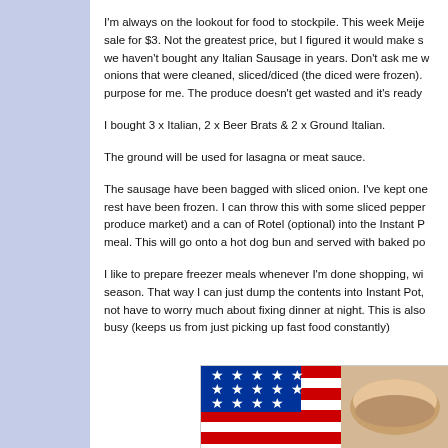I'm always on the lookout for food to stockpile. This week Meije sale for $3. Not the greatest price, but I figured it would make s we haven't bought any Italian Sausage in years. Don't ask me w onions that were cleaned, sliced/diced (the diced were frozen). purpose for me. The produce doesn't get wasted and it's ready
I bought 3 x Italian, 2 x Beer Brats & 2 x Ground Italian.
The ground will be used for lasagna or meat sauce.
The sausage have been bagged with sliced onion. I've kept one rest have been frozen. I can throw this with some sliced pepper produce market) and a can of Rotel (optional) into the Instant P meal. This will go onto a hot dog bun and served with baked po
I like to prepare freezer meals whenever I'm done shopping, wi season. That way I can just dump the contents into Instant Pot, not have to worry much about fixing dinner at night. This is also busy (keeps us from just picking up fast food constantly)
[Figure (photo): Photo showing what appears to be a patriotic American flag themed image with red, white, and blue colors and stars pattern, partially visible at bottom of page]